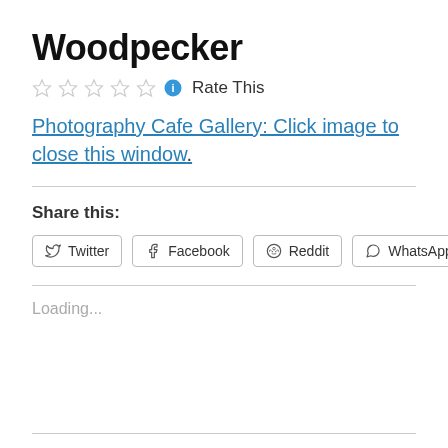Woodpecker
☆☆☆☆☆ ℹ Rate This
Photography Cafe Gallery: Click image to close this window.
Share this:
Twitter  Facebook  Reddit  WhatsApp
Loading...